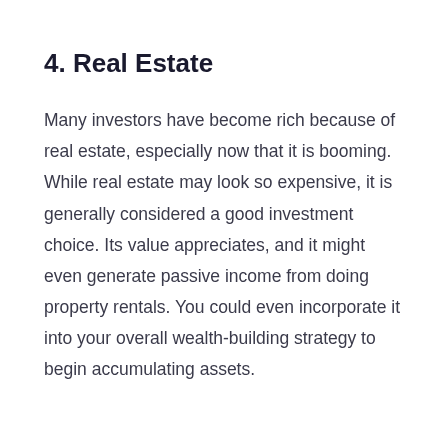4. Real Estate
Many investors have become rich because of real estate, especially now that it is booming. While real estate may look so expensive, it is generally considered a good investment choice. Its value appreciates, and it might even generate passive income from doing property rentals. You could even incorporate it into your overall wealth-building strategy to begin accumulating assets.